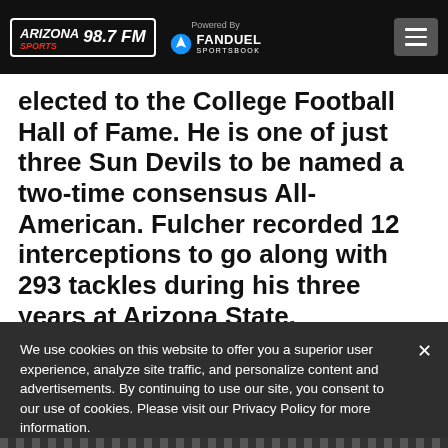Arizona Sports 98.7 FM — Powered By FanDuel Sportsbook
elected to the College Football Hall of Fame. He is one of just three Sun Devils to be named a two-time consensus All-American. Fulcher recorded 12 interceptions to go along with 293 tackles during his three years at Arizona State.
We use cookies on this website to offer you a superior user experience, analyze site traffic, and personalize content and advertisements. By continuing to use our site, you consent to our use of cookies. Please visit our Privacy Policy for more information.
Accept Cookies